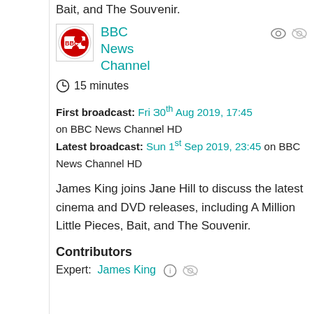Bait, and The Souvenir.
[Figure (logo): BBC News Channel logo - red circular badge with BBC letters]
BBC News Channel
15 minutes
First broadcast: Fri 30th Aug 2019, 17:45 on BBC News Channel HD
Latest broadcast: Sun 1st Sep 2019, 23:45 on BBC News Channel HD
James King joins Jane Hill to discuss the latest cinema and DVD releases, including A Million Little Pieces, Bait, and The Souvenir.
Contributors
Expert: James King